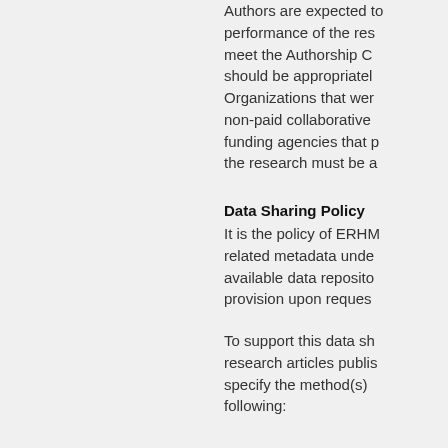Authors are expected to performance of the research meet the Authorship C should be appropriately Organizations that were non-paid collaborative funding agencies that the research must be a
Data Sharing Policy
It is the policy of ERHM related metadata unde available data reposito provision upon reques
To support this data sh research articles publis specify the method(s) following: